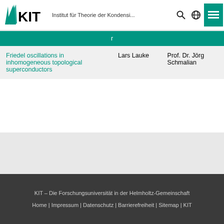[Figure (logo): KIT logo with Institut für Theorie der Kondensi... header text and navigation icons]
| r |  |  |
| --- | --- | --- |
| Friedel oscillations in inhomogeneous topological superconductors | Lars Lauke | Prof. Dr. Jörg Schmalian |
letzte Änderung: 11.05.2
KIT – Die Forschungsuniversität in der Helmholtz-Gemeinschaft
Home | Impressum | Datenschutz | Barrierefreiheit | Sitemap | KIT